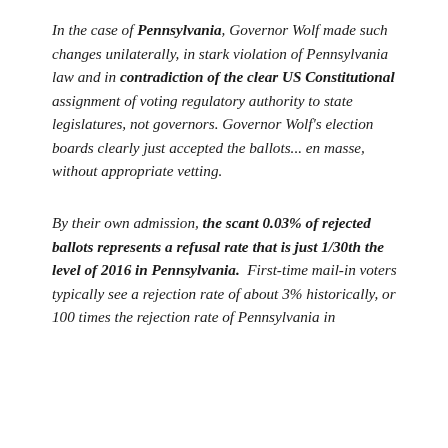In the case of Pennsylvania, Governor Wolf made such changes unilaterally, in stark violation of Pennsylvania law and in contradiction of the clear US Constitutional assignment of voting regulatory authority to state legislatures, not governors. Governor Wolf's election boards clearly just accepted the ballots... en masse, without appropriate vetting.
By their own admission, the scant 0.03% of rejected ballots represents a refusal rate that is just 1/30th the level of 2016 in Pennsylvania. First-time mail-in voters typically see a rejection rate of about 3% historically, or 100 times the rejection rate of Pennsylvania in